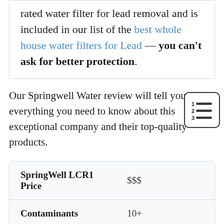rated water filter for lead removal and is included in our list of the best whole house water filters for Lead — you can't ask for better protection.
Our Springwell Water review will tell you everything you need to know about this exceptional company and their top-quality products.
|  |  |
| --- | --- |
| SpringWell LCR1 Price | $$$ |
| Contaminants | 10+ |